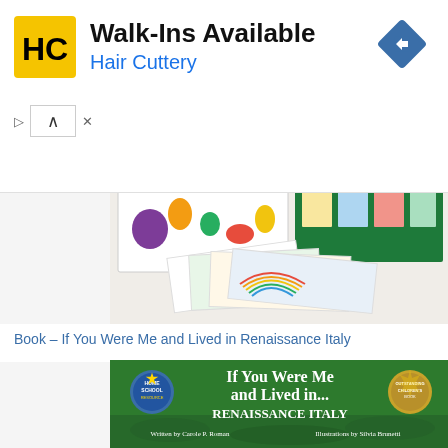[Figure (screenshot): Hair Cuttery advertisement banner with HC logo, 'Walk-Ins Available' heading, 'Hair Cuttery' subheading in blue, and a blue navigation diamond icon]
[Figure (photo): SuperBooks educational reading kit boxes - Kit II by JoAnne Nelson, showing colorful children's book images on box covers with flashcards spread in front]
Book – If You Were Me and Lived in Renaissance Italy
[Figure (photo): Book cover: 'If You Were Me and Lived in... Renaissance Italy' written by Carole P. Roman, Illustrations by Silvia Brunetti. Green background with children illustrations, Homeschool Resource badge, and award seal.]